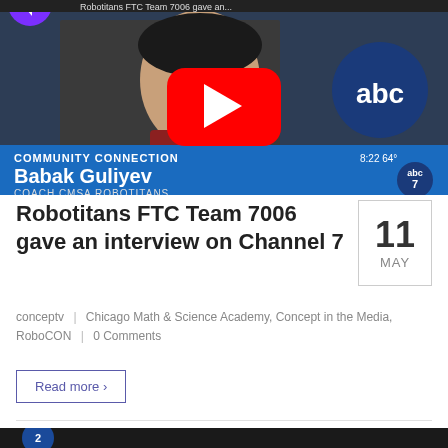[Figure (screenshot): YouTube video thumbnail showing a man in a dark red shirt being interviewed on ABC Channel 7 news. Lower third shows 'COMMUNITY CONNECTION', 'Babak Guliyev', 'COACH CMSA ROBOTITANS', time 8:22, 64°F. ABC 7 logo visible. YouTube play button overlay in center. Purple YouTube channel icon partially visible top left.]
Robotitans FTC Team 7006 gave an interview on Channel 7
conceptv | Chicago Math & Science Academy, Concept in the Media, RoboCON | 0 Comments
Read more >
[Figure (screenshot): Bottom portion of a second video thumbnail, partially visible, showing a dark background with a blue/white circular logo on the left.]